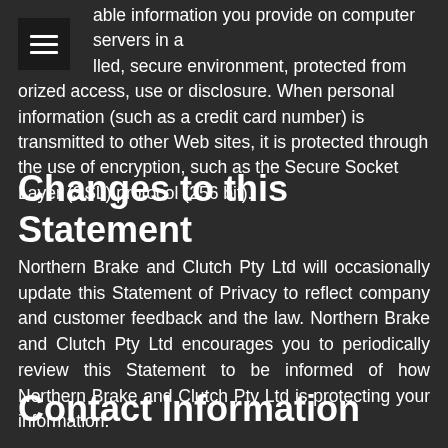[Figure (other): Hamburger menu icon (three horizontal white lines on dark background)]
able information you provide on computer servers in a lled, secure environment, protected from orized access, use or disclosure. When personal information (such as a credit card number) is transmitted to other Web sites, it is protected through the use of encryption, such as the Secure Socket Layer (SSL) protocol (256 bit).
Changes to this Statement
Northern Brake and Clutch Pty Ltd will occasionally update this Statement of Privacy to reflect company and customer feedback and the law. Northern Brake and Clutch Pty Ltd encourages you to periodically review this Statement to be informed of how Northern Brake and Clutch Pty Ltd is protecting your information.
Contact Information